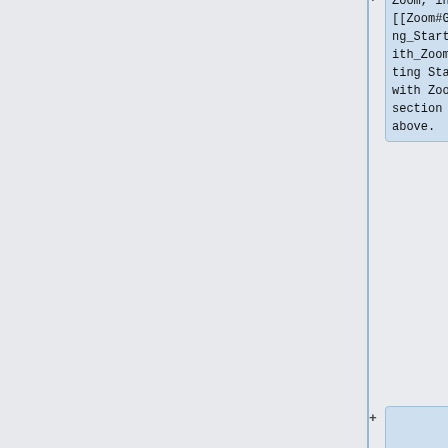Zoom, in the [[Zoom#Getting_Started_with_Zoom|Getting Started with Zoom]] section above.
A of the suggestions include utilizing the following
* '''Meeting Password'''
* '''Enable waiting